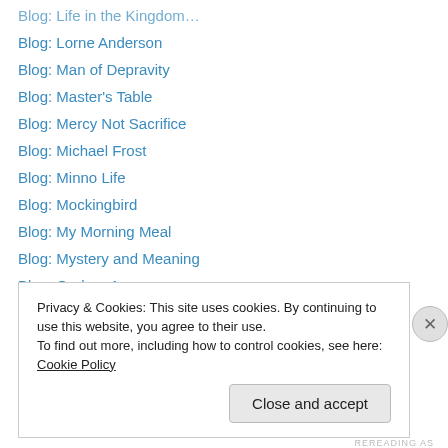Blog: Life in the Kingdom…
Blog: Lorne Anderson
Blog: Man of Depravity
Blog: Master's Table
Blog: Mercy Not Sacrifice
Blog: Michael Frost
Blog: Minno Life
Blog: Mockingbird
Blog: My Morning Meal
Blog: Mystery and Meaning
Blog: Orphan Age
Blog: Passionately His
Blog: Paul Louis Metzger
Blog: Philip Yancey
Privacy & Cookies: This site uses cookies. By continuing to use this website, you agree to their use.
To find out more, including how to control cookies, see here: Cookie Policy
Close and accept
REREADING AS